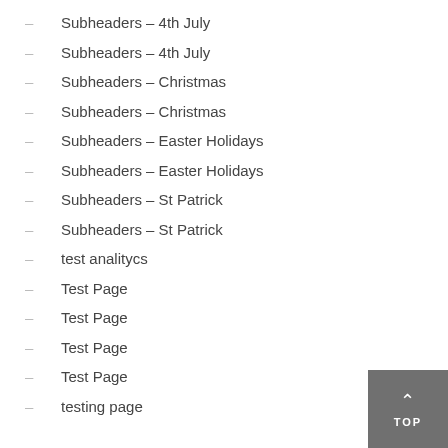Subheaders – 4th July
Subheaders – 4th July
Subheaders – Christmas
Subheaders – Christmas
Subheaders – Easter Holidays
Subheaders – Easter Holidays
Subheaders – St Patrick
Subheaders – St Patrick
test analitycs
Test Page
Test Page
Test Page
Test Page
testing page